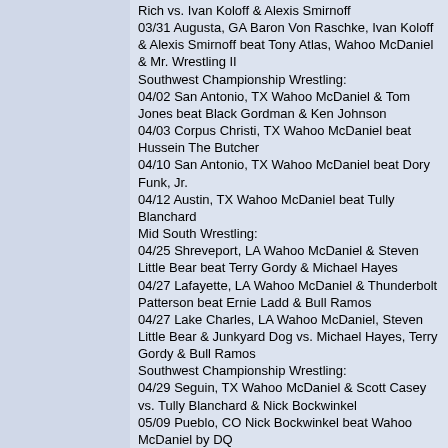Rich vs. Ivan Koloff & Alexis Smirnoff
03/31 Augusta, GA Baron Von Raschke, Ivan Koloff & Alexis Smirnoff beat Tony Atlas, Wahoo McDaniel & Mr. Wrestling II
Southwest Championship Wrestling:
04/02 San Antonio, TX Wahoo McDaniel & Tom Jones beat Black Gordman & Ken Johnson
04/03 Corpus Christi, TX Wahoo McDaniel beat Hussein The Butcher
04/10 San Antonio, TX Wahoo McDaniel beat Dory Funk, Jr.
04/12 Austin, TX Wahoo McDaniel beat Tully Blanchard
Mid South Wrestling:
04/25 Shreveport, LA Wahoo McDaniel & Steven Little Bear beat Terry Gordy & Michael Hayes
04/27 Lafayette, LA Wahoo McDaniel & Thunderbolt Patterson beat Ernie Ladd & Bull Ramos
04/27 Lake Charles, LA Wahoo McDaniel, Steven Little Bear & Junkyard Dog vs. Michael Hayes, Terry Gordy & Bull Ramos
Southwest Championship Wrestling:
04/29 Seguin, TX Wahoo McDaniel & Scott Casey vs. Tully Blanchard & Nick Bockwinkel
05/09 Pueblo, CO Nick Bockwinkel beat Wahoo McDaniel by DQ
Georgia Championship Wrestling:
05/18 Atlanta, GA Tony Atlas(sub for Wahoo McDaniel) beat Ernie Ladd
Mid Atlantic Championship Wrsetling:
05/25 Greensboro, NC Jimmy Snuka beat Wahoo McDaniel
American Wrestling Association:
05/30 Denver, CO Adrian Adonis & Jesse Ventura beat Greg Gagne & Wahoo McDaniel
Southwest Championship Wrestling:
05/31 San Antonio, TX Wahoo McDaniel & Mil